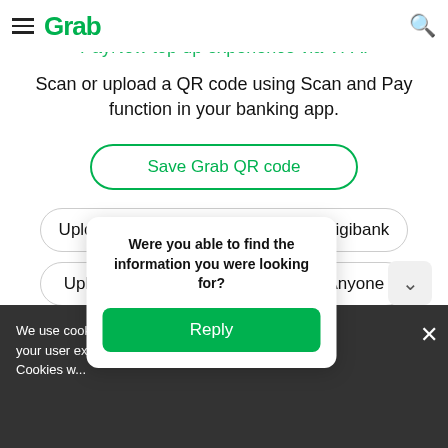Grab
Scroll to learn more about a more seamless PayNow top up experience via VPA.
Scan or upload a QR code using Scan and Pay function in your banking app.
Save Grab QR code
Upload QR code using POSB/DBS digibank
Upload QR code using OCBC Pay Anyone
Upload QR code using UOB Mighty
Were you able to find the information you were looking for?
Reply
We use cookies to enhance your user experience. Cookies w...